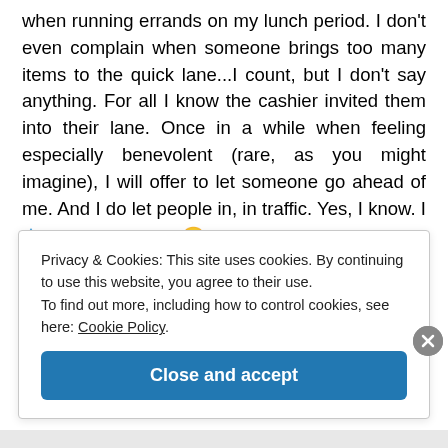when running errands on my lunch period. I don't even complain when someone brings too many items to the quick lane...I count, but I don't say anything. For all I know the cashier invited them into their lane. Once in a while when feeling especially benevolent (rare, as you might imagine), I will offer to let someone go ahead of me. And I do let people in, in traffic. Yes, I know. I am a fucking saint. 😉
Privacy & Cookies: This site uses cookies. By continuing to use this website, you agree to their use.
To find out more, including how to control cookies, see here: Cookie Policy
Close and accept